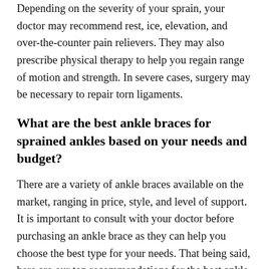Depending on the severity of your sprain, your doctor may recommend rest, ice, elevation, and over-the-counter pain relievers. They may also prescribe physical therapy to help you regain range of motion and strength. In severe cases, surgery may be necessary to repair torn ligaments.
What are the best ankle braces for sprained ankles based on your needs and budget?
There are a variety of ankle braces available on the market, ranging in price, style, and level of support. It is important to consult with your doctor before purchasing an ankle brace as they can help you choose the best type for your needs. That being said, here are our top recommendations for the best ankle braces for sprained ankles based on your needs and budget.
If you are looking for an ankle brace that is affordable and provides support for mild to moderate sprains, we...